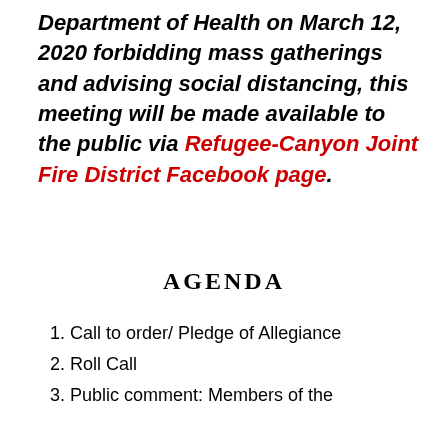Department of Health on March 12, 2020 forbidding mass gatherings and advising social distancing, this meeting will be made available to the public via Refugee-Canyon Joint Fire District Facebook page.
AGENDA
1. Call to order/ Pledge of Allegiance
2. Roll Call
3. Public comment: Members of the